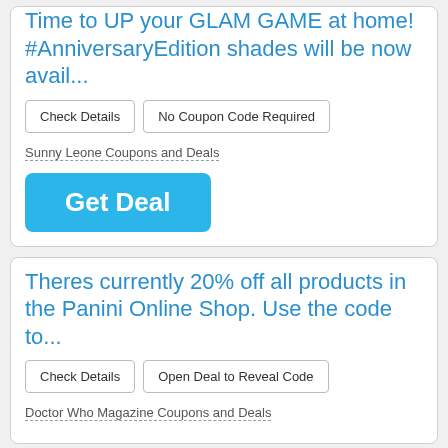Time to UP your GLAM GAME at home! #AnniversaryEdition shades will be now avail...
Check Details | No Coupon Code Required
Sunny Leone Coupons and Deals
Get Deal
Theres currently 20% off all products in the Panini Online Shop. Use the code to...
Check Details | Open Deal to Reveal Code
Doctor Who Magazine Coupons and Deals